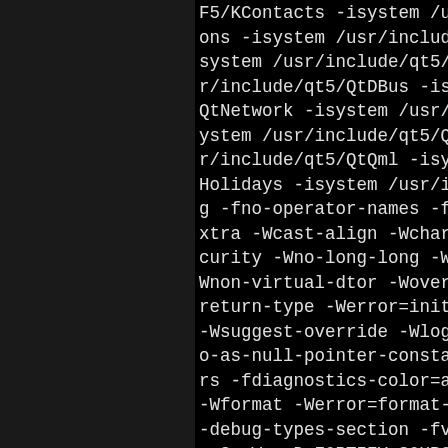F5/KContacts -isystem /usr/include/qt5/QtAddons -isystem /usr/include/qt5/QtDBus -isystem /usr/include/qt5/QtNetwork -isystem /usr/include/qt5/QtCore -isystem /usr/include/qt5/QtQml -isystem /usr/include/KHolidays -isystem /usr/include/KF5/Holiday g -fno-operator-names -fno-exceptions -fextra -Wcast-align -Wchar-subscripts -Wsecurity -Wno-long-long -Wpedantic -Wnon-virtual-dtor -Woverloaded-virtual -Wreturn-type -Werror=init-self -Wswitch -Wsuggest-override -Wlogical-op -Wzero-as-null-pointer-constant -Wmissors -fdiagnostics-color=always -Wformat -Werror=format-security -debug-types-section -fvar-tracking -g2 -Wp,-D_FORTIFY_SOURCE=2 -fstack-protong --param=ssp-buffer-size=4 -fstack-protector-strong-lines -fomit-frame-pointer --param=... onous-unwind-tables -mtune=... fno-debug-types-section - nts -g2 -DNDEBUG -DOT NO D